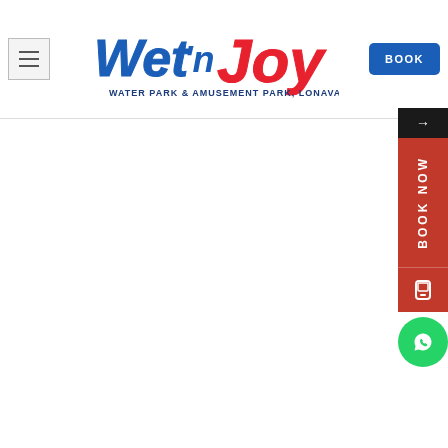[Figure (logo): Wet 'n Joy Water Park & Amusement Park, Lonavala logo with colorful stylized text]
BOOK
[Figure (infographic): Right-side floating action buttons: arrow button (dark), BOOK NOW vertical text button (red), phone icon button (red), WhatsApp icon button (green)]